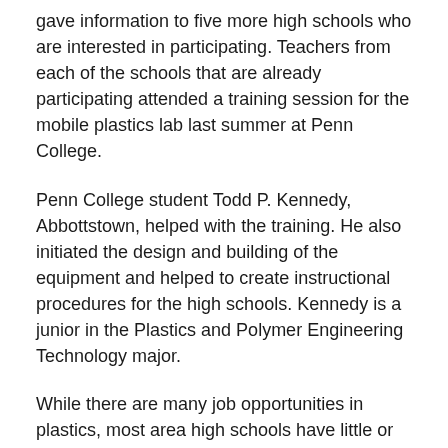gave information to five more high schools who are interested in participating. Teachers from each of the schools that are already participating attended a training session for the mobile plastics lab last summer at Penn College.
Penn College student Todd P. Kennedy, Abbottstown, helped with the training. He also initiated the design and building of the equipment and helped to create instructional procedures for the high schools. Kennedy is a junior in the Plastics and Polymer Engineering Technology major.
While there are many job opportunities in plastics, most area high schools have little or no plastics equipment. Piwowar said he takes the opportunity in the high schools to make students aware of the plastics industry and available jobs, as well as the opportunities available at Penn College.